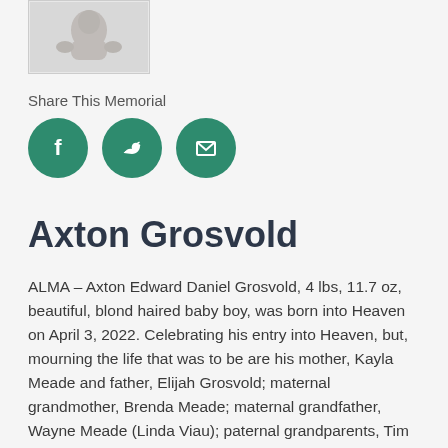[Figure (photo): Small photo of infant/baby in gray tones, partially visible at top of page]
Share This Memorial
[Figure (infographic): Three green circular social media sharing icons: Facebook (f), Twitter (bird), and Email (envelope)]
Axton Grosvold
ALMA – Axton Edward Daniel Grosvold, 4 lbs, 11.7 oz, beautiful, blond haired baby boy, was born into Heaven on April 3, 2022. Celebrating his entry into Heaven, but, mourning the life that was to be are his mother, Kayla Meade and father, Elijah Grosvold; maternal grandmother, Brenda Meade; maternal grandfather, Wayne Meade (Linda Viau); paternal grandparents, Tim and Rose Grosvold; maternal great-grandmother, Leah Sweet; paternal great-grandparents, Danny and [Rosalie Grosvold; maternal great-grand] [Michael/Mrs. Ros...]